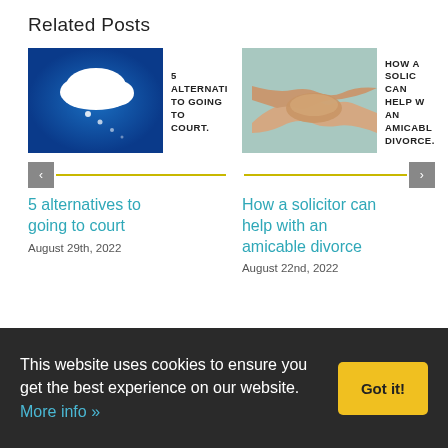Related Posts
[Figure (photo): Photo of a white cloud against a blue sky with dotted trail]
5 ALTERNATIVES TO GOING TO COURT.
[Figure (photo): Photo of two people shaking hands against a light teal background]
HOW A SOLICITOR CAN HELP WITH AN AMICABLE DIVORCE.
5 alternatives to going to court
August 29th, 2022
How a solicitor can help with an amicable divorce
August 22nd, 2022
This website uses cookies to ensure you get the best experience on our website. More info » Got it!